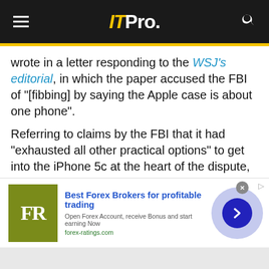ITPro.
wrote in a letter responding to the WSJ's editorial, in which the paper accused the FBI of "[fibbing] by saying the Apple case is about one phone".
Referring to claims by the FBI that it had "exhausted all other practical options" to get into the iPhone 5c at the heart of the dispute, the WSJ said: "Now we learn the FBI, far from exhausting all other practical options, had been pursuing such non-Apple leads all along."
[Figure (infographic): Advertisement banner for Forex Ratings. Shows FR logo on olive/yellow-green background, text 'Best Forex Brokers for profitable trading', subtext 'Open Forex Account, receive Bonus and start earning Now', url 'forex-ratings.com', with a blue arrow button and light purple circular background on the right.]